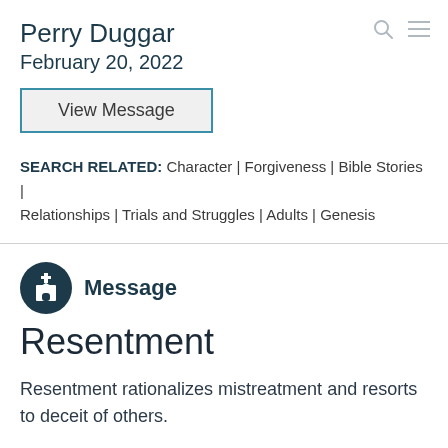Perry Duggar
February 20, 2022
View Message
SEARCH RELATED: Character | Forgiveness | Bible Stories | Relationships | Trials and Struggles | Adults | Genesis
Message
Resentment
Resentment rationalizes mistreatment and resorts to deceit of others.